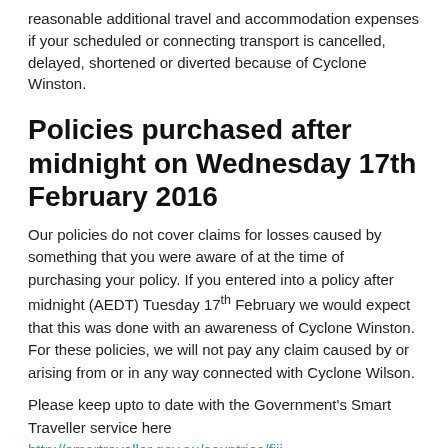reasonable additional travel and accommodation expenses if your scheduled or connecting transport is cancelled, delayed, shortened or diverted because of Cyclone Winston.
Policies purchased after midnight on Wednesday 17th February 2016
Our policies do not cover claims for losses caused by something that you were aware of at the time of purchasing your policy. If you entered into a policy after midnight (AEDT) Tuesday 17th February we would expect that this was done with an awareness of Cyclone Winston. For these policies, we will not pay any claim caused by or arising from or in any way connected with Cyclone Wilson.
Please keep upto to date with the Government's Smart Traveller service here   http://smartraveller.gov.au/countries/fiji
Closure of Port Vila International Airport – Vanuatu
We cover that transport is cancelled, first to...